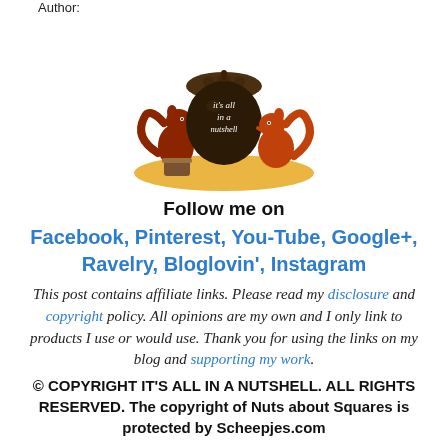Author:
[Figure (logo): It's all in a nutshell blog logo: two squirrels with a large acorn in the center, text 'it's all in a nutshell' on the acorn, sitting on orange/yellow ground]
Follow me on
Facebook, Pinterest, You-Tube, Google+, Ravelry, Bloglovin', Instagram
This post contains affiliate links. Please read my disclosure and copyright policy. All opinions are my own and I only link to products I use or would use. Thank you for using the links on my blog and supporting my work.
© COPYRIGHT IT'S ALL IN A NUTSHELL. ALL RIGHTS RESERVED. The copyright of Nuts about Squares is protected by Scheepjes.com